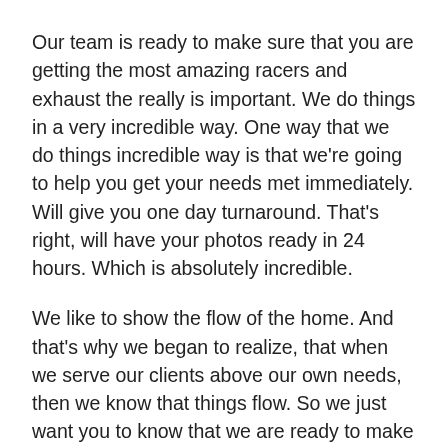Our team is ready to make sure that you are getting the most amazing racers and exhaust the really is important. We do things in a very incredible way. One way that we do things incredible way is that we're going to help you get your needs met immediately. Will give you one day turnaround. That's right, will have your photos ready in 24 hours. Which is absolutely incredible.
We like to show the flow of the home. And that's why we began to realize, that when we serve our clients above our own needs, then we know that things flow. So we just want you to know that we are ready to make sure that things are working together for your good. We seek to serve our customers above all else. Call us today for Free Real Estate Photography.